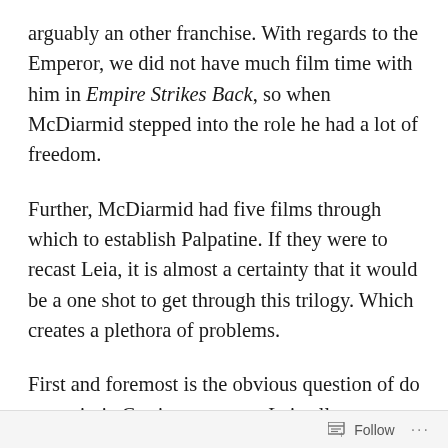arguably an other franchise. With regards to the Emperor, we did not have much film time with him in Empire Strikes Back, so when McDiarmid stepped into the role he had a lot of freedom.
Further, McDiarmid had five films through which to establish Palpatine. If they were to recast Leia, it is almost a certainty that it would be a one shot to get through this trilogy. Which creates a plethora of problems.
First and foremost is the obvious question of do you mimic Carrie or create a Leia all your own? But on top of that, regardless of the answer to the previous question, you are in a lose-lose situation. If, by some
Follow ···